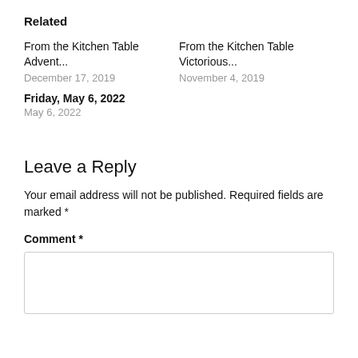Related
From the Kitchen Table Advent...
December 17, 2019
From the Kitchen Table Victorious...
November 4, 2019
Friday, May 6, 2022
May 6, 2022
Leave a Reply
Your email address will not be published. Required fields are marked *
Comment *